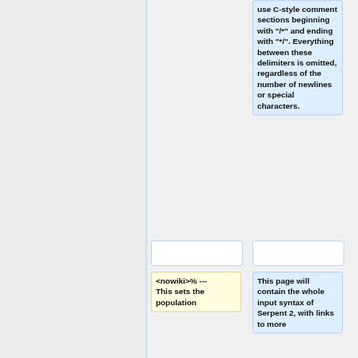use C-style comment sections beginning with "/*" and ending with "*/". Everything between these delimiters is omitted, regardless of the number of newlines or special characters.
<nowiki>% --- This sets the population
This page will contain the whole input syntax of Serpent 2, with links to more